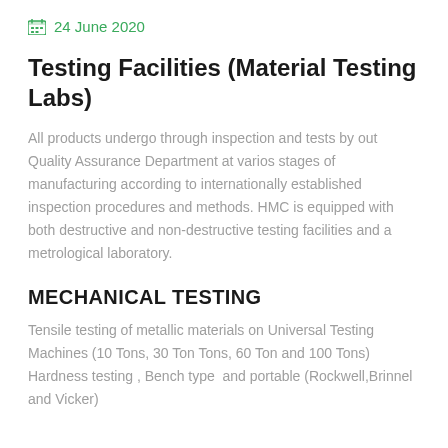24 June 2020
Testing Facilities (Material Testing Labs)
All products undergo through inspection and tests by out Quality Assurance Department at varios stages of manufacturing according to internationally established inspection procedures and methods. HMC is equipped with both destructive and non-destructive testing facilities and a metrological laboratory.
MECHANICAL TESTING
Tensile testing of metallic materials on Universal Testing Machines (10 Tons, 30 Ton Tons, 60 Ton and 100 Tons) Hardness testing , Bench type  and portable (Rockwell,Brinnel and Vicker)